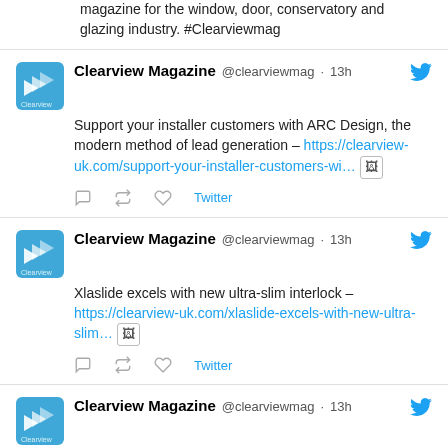magazine for the window, door, conservatory and glazing industry. #Clearviewmag
Clearview Magazine @clearviewmag · 13h
Support your installer customers with ARC Design, the modern method of lead generation – https://clearview-uk.com/support-your-installer-customers-wi…
Clearview Magazine @clearviewmag · 13h
Xlaslide excels with new ultra-slim interlock – https://clearview-uk.com/xlaslide-excels-with-new-ultra-slim…
Clearview Magazine @clearviewmag · 13h